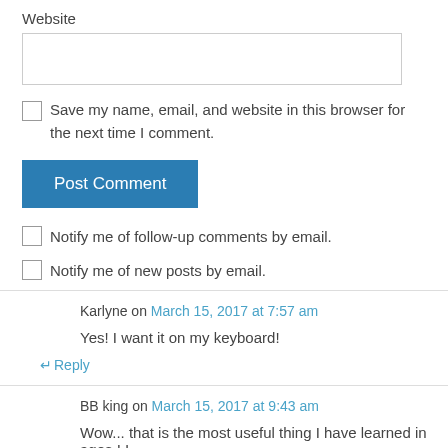Website
Save my name, email, and website in this browser for the next time I comment.
Post Comment
Notify me of follow-up comments by email.
Notify me of new posts by email.
Karlyne on March 15, 2017 at 7:57 am
Yes! I want it on my keyboard!
Reply
BB king on March 15, 2017 at 9:43 am
Wow... that is the most useful thing I have learned in ages ! I...